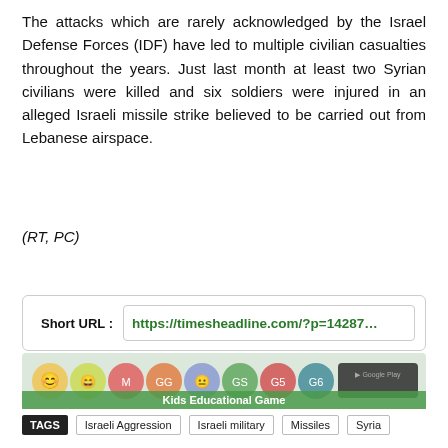The attacks which are rarely acknowledged by the Israel Defense Forces (IDF) have led to multiple civilian casualties throughout the years. Just last month at least two Syrian civilians were killed and six soldiers were injured in an alleged Israeli missile strike believed to be carried out from Lebanese airspace.
(RT, PC)
Short URL : https://timesheadline.com/?p=14287
[Figure (illustration): Kids Educational Game banner advertisement with colorful emoji/character circles and Google Play button]
TAGS  Israeli Aggression  Israeli military  Missiles  Syria